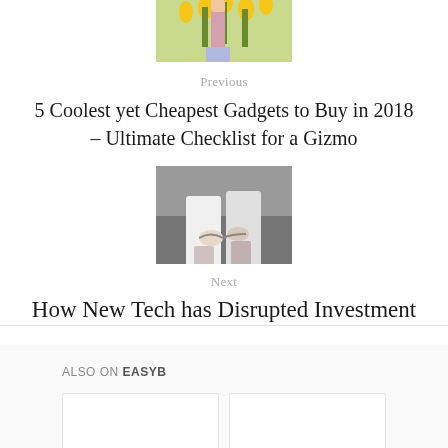[Figure (photo): Thumbnail image of a person in a field of sunflowers]
Previous
5 Coolest yet Cheapest Gadgets to Buy in 2018 – Ultimate Checklist for a Gizmo
[Figure (photo): Thumbnail image of two people shaking hands in business setting]
Next
How New Tech has Disrupted Investment
ALSO ON EASYB